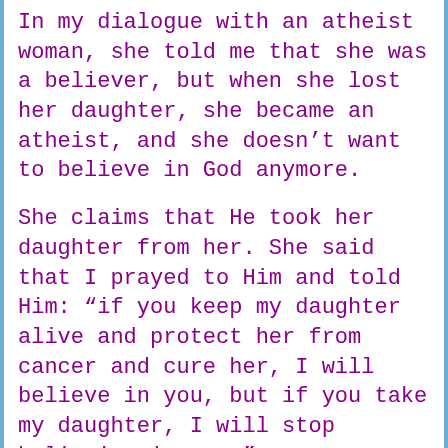In my dialogue with an atheist woman, she told me that she was a believer, but when she lost her daughter, she became an atheist, and she doesn't want to believe in God anymore.
She claims that He took her daughter from her. She said that I prayed to Him and told Him: “if you keep my daughter alive and protect her from cancer and cure her, I will believe in you, but if you take my daughter, I will stop believing in you.”